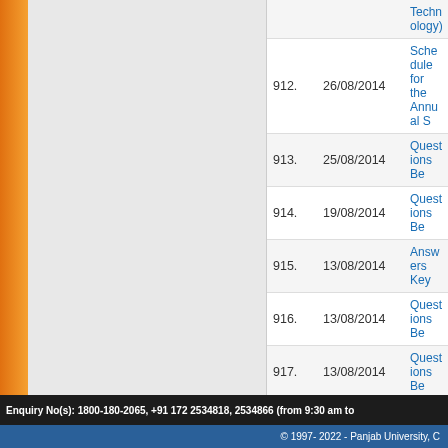| # | Date | Link |
| --- | --- | --- |
| 912. | 26/08/2014 | Schedule for the Annual S... |
| 913. | 25/08/2014 | Questions Be... |
| 914. | 19/08/2014 | Questions Be... |
| 915. | 13/08/2014 | Answers Key... |
| 916. | 13/08/2014 | Questions Be... |
| 917. | 13/08/2014 | Questions Be... |
| 918. | 11/08/2014 | Questions Be... |
| 919. | 18/07/2014 | Questions Be... |
| 920. | 14/07/2014 | Questions &... |
| 921. | 13/07/2014 | Questions an... |
| 922. | 07/07/2014 | M.Ed Questi... |
| 923. | 07/07/2014 | Keys of M.E... |
Enquiry No(s): 1800-180-2065, +91 172 2534818, 2534866 (from 9:30 am to...
© 1997- 2022 - Panjab University, C...